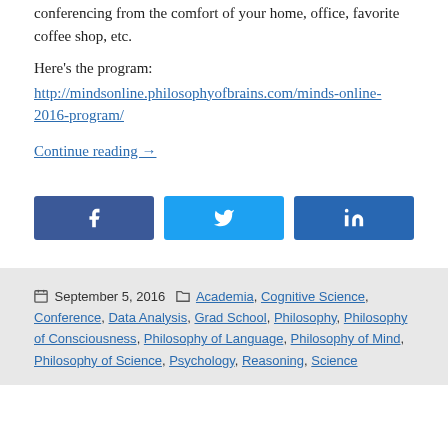conferencing from the comfort of your home, office, favorite coffee shop, etc.
Here’s the program:
http://mindsonline.philosophyofbrains.com/minds-online-2016-program/
Continue reading →
[Figure (other): Social share buttons: Facebook, Twitter, LinkedIn]
September 5, 2016 Academia, Cognitive Science, Conference, Data Analysis, Grad School, Philosophy, Philosophy of Consciousness, Philosophy of Language, Philosophy of Mind, Philosophy of Science, Psychology, Reasoning, Science